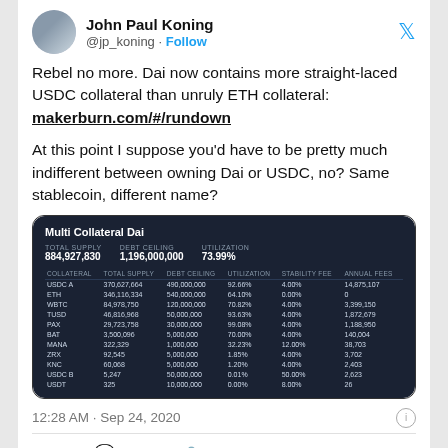John Paul Koning @jp_koning · Follow
Rebel no more. Dai now contains more straight-laced USDC collateral than unruly ETH collateral: makerburn.com/#/rundown

At this point I suppose you'd have to be pretty much indifferent between owning Dai or USDC, no? Same stablecoin, different name?
[Figure (screenshot): Multi Collateral Dai table showing collateral breakdown: USDC A, ETH, WBTC, TUSD, PAX, BAT, MANA, ZRX, KNC, USDC B, USDT with total supply, debt ceiling, utilization, stability fee, annual fees columns.]
12:28 AM · Sep 24, 2020
165  Reply  Copy link
Read 21 replies